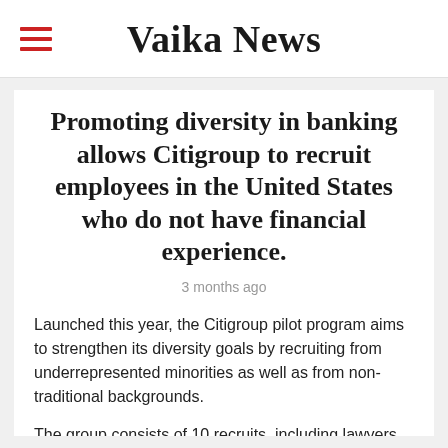Vaika News
Promoting diversity in banking allows Citigroup to recruit employees in the United States who do not have financial experience.
3 months ago
Launched this year, the Citigroup pilot program aims to strengthen its diversity goals by recruiting from underrepresented minorities as well as from non-traditional backgrounds.
The group consists of 10 recruits, including lawyers, a